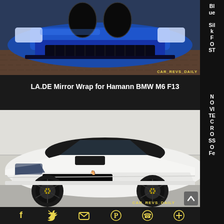[Figure (photo): Front view of a blue Hamann BMW M6 F13 with wide body kit on cobblestone, with CAR_REVS_DAILY watermark]
LA.DE Mirror Wrap for Hamann BMW M6 F13
[Figure (photo): Side-front view of a white Ferrari California with black wheels and black roof, CAR_REVS_DAILY watermark]
Social share icons: Facebook, Twitter, Email, Pinterest, WhatsApp, Plus